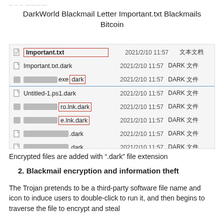-- - -- ----------
DarkWorld Blackmail Letter Important.txt Blackmails Bitcoin
[Figure (screenshot): Windows file explorer screenshot showing encrypted files with .dark extension. Rows: Important.txt (2021/2/10 11:57, 文本文档), Important.txt.dark (2021/2/10 11:57, DARK 文件), [blurred]exe dark (2021/2/10 11:57, DARK 文件), Untitled-1.ps1.dark (2021/2/10 11:57, DARK 文件), [blurred]ro.lnk.dark (2021/2/10 11:57, DARK 文件), [blurred]e.lnk.dark (2021/2/10 11:57, DARK 文件), [blurred].dark (2021/2/10 11:57, DARK 文件), [blurred].dark (2021/2/10 11:57, DARK 文件). Important.txt and 'dark' extension boxes highlighted with red borders.]
Encrypted files are added with ".dark" file extension
2. Blackmail encryption and information theft
The Trojan pretends to be a third-party software file name and icon to induce users to double-click to run it, and then begins to traverse the file to encrypt and steal